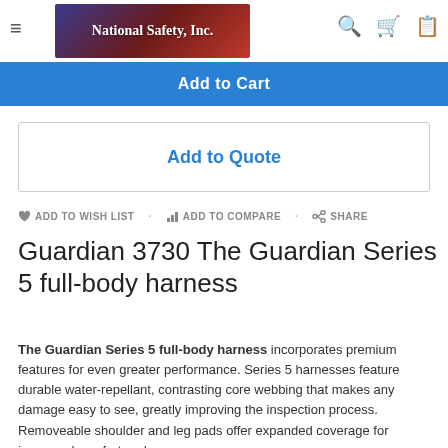National Safety, Inc.
Add to Cart
Add to Quote
ADD TO WISH LIST   ADD TO COMPARE   SHARE
Guardian 3730 The Guardian Series 5 full-body harness
The Guardian Series 5 full-body harness incorporates premium features for even greater performance. Series 5 harnesses feature durable water-repellant, contrasting core webbing that makes any damage easy to see, greatly improving the inspection process. Removeable shoulder and leg pads offer expanded coverage for increased comfort and